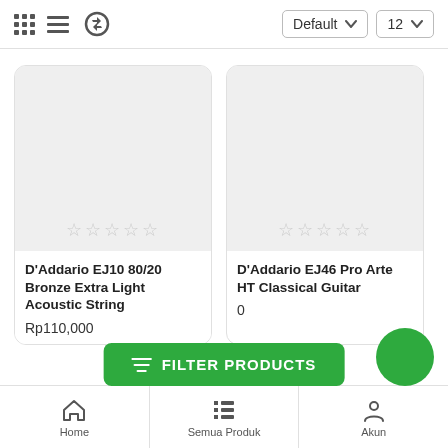[Figure (screenshot): Top toolbar with grid view, list view, refresh icons on left; Default sort dropdown and 12-per-page dropdown on right]
[Figure (screenshot): Product card 1: D'Addario EJ10 80/20 Bronze Extra Light Acoustic String, Rp110,000, 5 empty stars]
D'Addario EJ10 80/20 Bronze Extra Light Acoustic String
Rp110,000
[Figure (screenshot): Product card 2: D'Addario EJ46 Pro Arte HT Classical Guitar, price partially visible, 5 empty stars]
D'Addario EJ46 Pro Arte HT Classical Guitar
[Figure (screenshot): Green FILTER PRODUCTS button overlay at bottom center]
[Figure (screenshot): Green circle floating action button at bottom right]
Home   Semua Produk   Akun